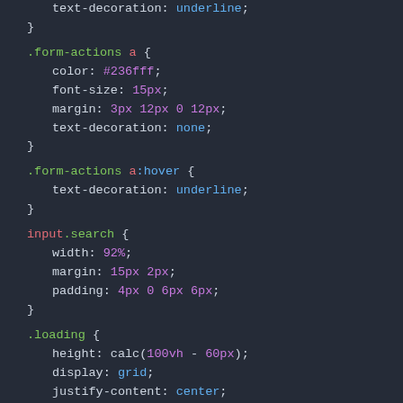text-decoration: underline;
}

.form-actions a {
    color: #236fff;
    font-size: 15px;
    margin: 3px 12px 0 12px;
    text-decoration: none;
}

.form-actions a:hover {
    text-decoration: underline;
}

input.search {
    width: 92%;
    margin: 15px 2px;
    padding: 4px 0 6px 6px;
}

.loading {
    height: calc(100vh - 60px);
    display: grid;
    justify-content: center;
    align-content: center;
}